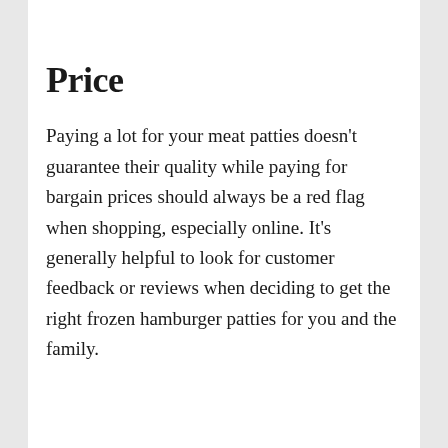Price
Paying a lot for your meat patties doesn't guarantee their quality while paying for bargain prices should always be a red flag when shopping, especially online. It's generally helpful to look for customer feedback or reviews when deciding to get the right frozen hamburger patties for you and the family.